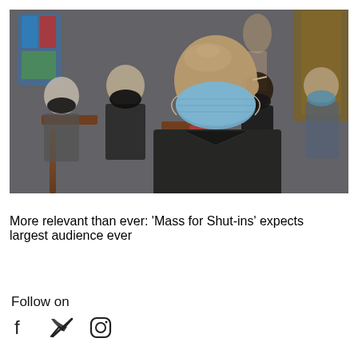[Figure (photo): People sitting in church pews wearing face masks during COVID-19 pandemic. A bald man in the foreground wears a light blue surgical mask. Behind him are other congregants also wearing masks, including a young child without a mask. The setting appears to be a Catholic or Christian church with stained glass windows visible in the background.]
More relevant than ever: 'Mass for Shut-ins' expects largest audience ever
Follow on